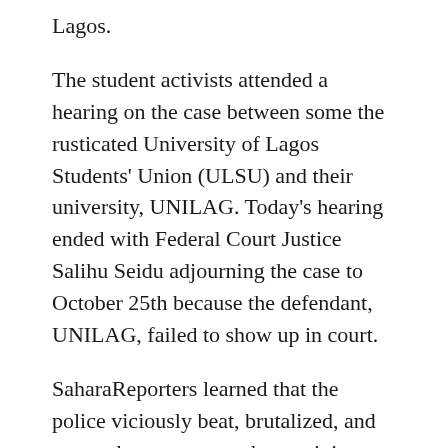Lagos.
The student activists attended a hearing on the case between some the rusticated University of Lagos Students' Union (ULSU) and their university, UNILAG. Today's hearing ended with Federal Court Justice Salihu Seidu adjourning the case to October 25th because the defendant, UNILAG, failed to show up in court.
SaharaReporters learned that the police viciously beat, brutalized, and arrested numerous student activists. Among those brutalized included: the NANS JCC Chairman Samson Moses Adewale, NANS JCC Sports director Muhammed, NANS JCC Secretary General Owolabi Oluseyi, two NANS JCC senators, and others.
The police swooped in on the student leaders during a meeting to decide next steps in their case against UNILAG.